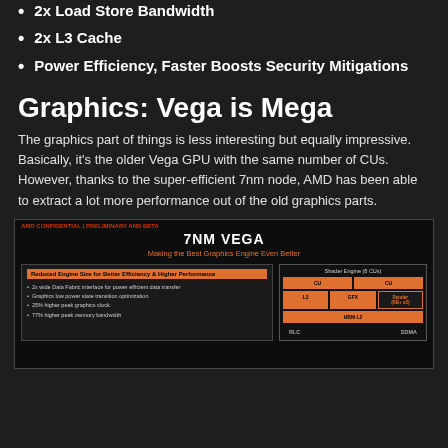2x Load Store Bandwidth
2x L3 Cache
Power Efficiency, Faster Boosts Security Mitigations
Graphics: Vega is Mega
The graphics part of things is less interesting but equally impressive. Basically, it's the older Vega GPU with the same number of CUs. However, thanks to the super-efficient 7nm node, AMD has been able to extract a lot more performance out of the old graphics parts.
[Figure (infographic): AMD 7NM VEGA slide titled 'Making the Best Graphics Engine Even Better'. Left panel: 'Reduced Engine Size for Better Efficiency & Higher Performance' with bullet points about 2x wide Data Fabric interface, graphics low power state transition optimization, 25% higher peak graphics clock, 77% higher peak memory bandwidth. Right panel: Shader Engine diagram with CU blocks, L2, GFX, Render, HBM L2 blocks, with RLC and SDMA at the bottom.]